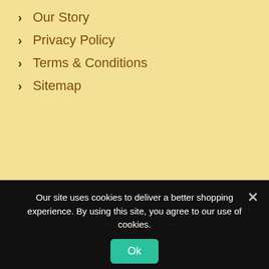Our Story
Privacy Policy
Terms & Conditions
Sitemap
Sign up for Special Deals
Email
Subscribe
Our site uses cookies to deliver a better shopping experience. By using this site, you agree to our use of cookies.
Ok